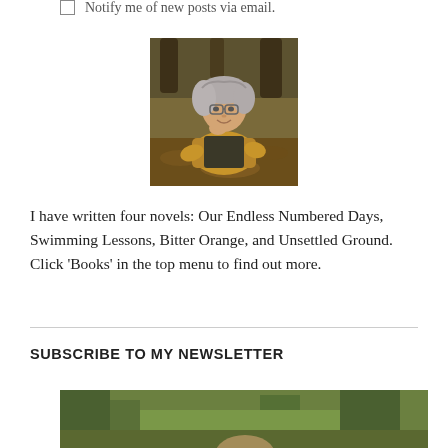☐ Notify me of new posts via email.
[Figure (photo): Author portrait: a woman with gray hair and glasses wearing a mustard yellow long-sleeve top and dark vest/dress, seated outdoors among trees with autumn foliage on the ground, resting her chin on her hand.]
I have written four novels: Our Endless Numbered Days, Swimming Lessons, Bitter Orange, and Unsettled Ground. Click 'Books' in the top menu to find out more.
SUBSCRIBE TO MY NEWSLETTER
[Figure (photo): Partial photo visible at bottom of page: author outdoors among green trees, similar setting to the portrait above.]